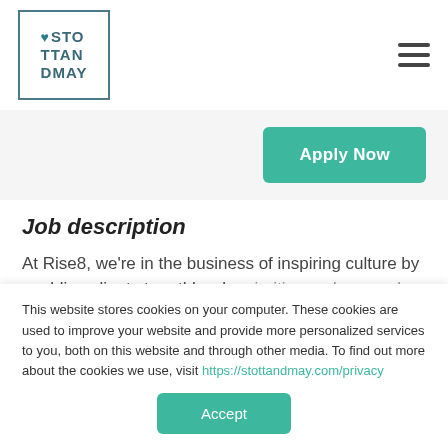[Figure (logo): Stott and May logo with heart icon inside a bordered box]
Apply Now
Job description
At Rise8, we're in the business of inspiring culture by enabling clients to ruthlessly prioritize and user value to build, test, and
This website stores cookies on your computer. These cookies are used to improve your website and provide more personalized services to you, both on this website and through other media. To find out more about the cookies we use, visit https://stottandmay.com/privacy
Accept